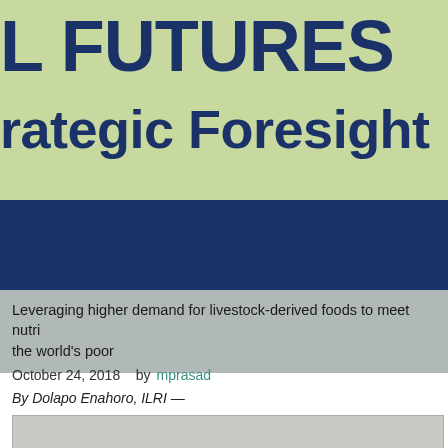L FUTURES Strategic Foresight
Leveraging higher demand for livestock-derived foods to meet nutritional needs of the world's poor
October 24, 2018   by mprasad
By Dolapo Enahoro, ILRI —
[Figure (photo): Black and white photograph of a cattle/cow viewed from behind in a field]